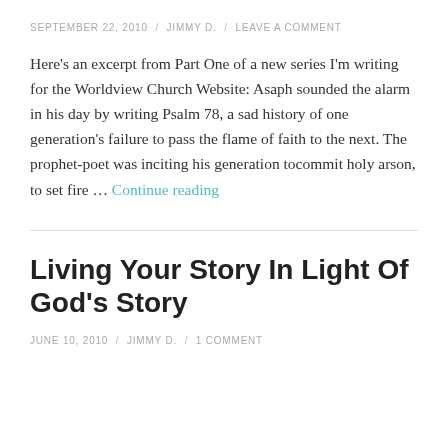SEPTEMBER 22, 2010 / JIMMY D. / LEAVE A COMMENT
Here's an excerpt from Part One of a new series I'm writing for the Worldview Church Website: Asaph sounded the alarm in his day by writing Psalm 78, a sad history of one generation's failure to pass the flame of faith to the next. The prophet-poet was inciting his generation tocommit holy arson, to set fire … Continue reading
Living Your Story In Light Of God's Story
JUNE 10, 2010 / JIMMY D. / 1 COMMENT